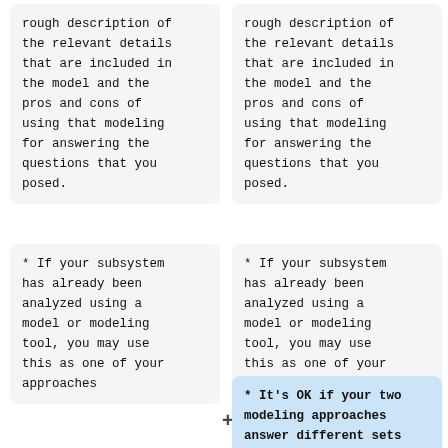rough description of the relevant details that are included in the model and the pros and cons of using that modeling for answering the questions that you posed.
rough description of the relevant details that are included in the model and the pros and cons of using that modeling for answering the questions that you posed.
* If your subsystem has already been analyzed using a model or modeling tool, you may use this as one of your approaches
* If your subsystem has already been analyzed using a model or modeling tool, you may use this as one of your approaches
* It's OK if your two modeling approaches answer different sets of questions